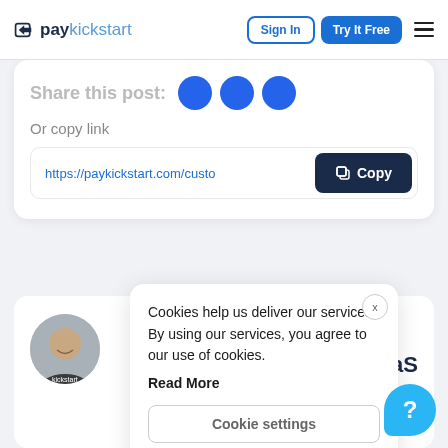paykickstart — Sign In | Try It Free
Share this post:
Or copy link
https://paykickstart.com/custo
Copy
Cookies help us deliver our services. By using our services, you agree to our use of cookies. Read More
Cookie settings
REJECT
ACCEPT
SaaS
dern-
ffiliate
and